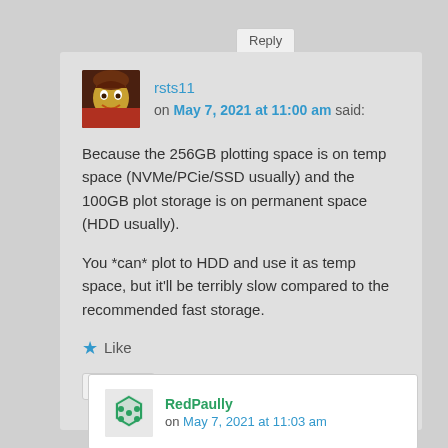Reply ↓
rsts11 on May 7, 2021 at 11:00 am said:
Because the 256GB plotting space is on temp space (NVMe/PCie/SSD usually) and the 100GB plot storage is on permanent space (HDD usually).
You *can* plot to HDD and use it as temp space, but it'll be terribly slow compared to the recommended fast storage.
★ Like
Reply ↓
RedPaully on May 7, 2021 at 11:03 am